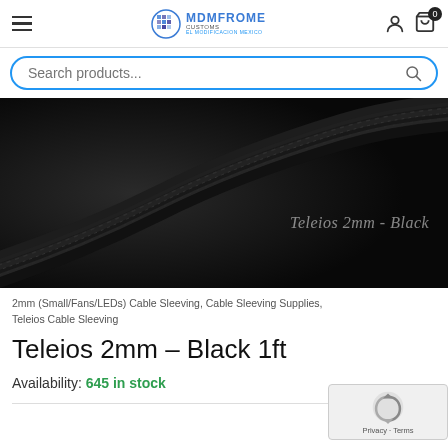MDMFROME CUSTOMS - Navigation header with hamburger menu, logo, user icon, and cart (0 items)
Search products...
[Figure (photo): Dark close-up photo of black Teleios 2mm cable sleeving coiled against a dark background, with text 'Teleios 2mm - Black' overlaid on the right side]
2mm (Small/Fans/LEDs) Cable Sleeving, Cable Sleeving Supplies, Teleios Cable Sleeving
Teleios 2mm – Black 1ft
Availability: 645 in stock